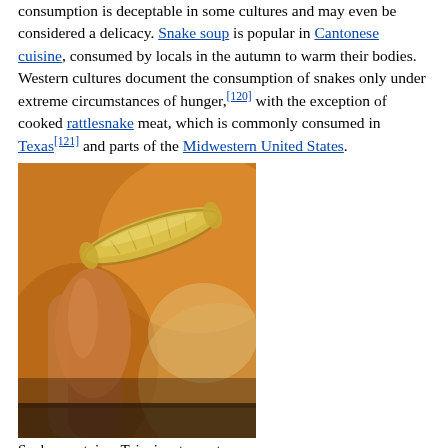consumption is deceptable in some cultures and may even be considered a delicacy. Snake soup is popular in Cantonese cuisine, consumed by locals in the autumn to warm their bodies. Western cultures document the consumption of snakes only under extreme circumstances of hunger,[120] with the exception of cooked rattlesnake meat, which is commonly consumed in Texas[121] and parts of the Midwestern United States.
[Figure (photo): A piece of snake meat being held between fingers, in a Taipei restaurant. The meat appears dried/cooked, yellowish-tan in color, on a blurred background.]
Snake meat, in a Taipei restaurant
In Asian countries such as China, Taiwan, Thailand, Indonesia, Vietnam, and Cambodia, drinking the blood of a snake—particularly the cobra—is believed to increase sexual virility.[122] When possible, the blood is drained while the cobra is still alive, and it is usually mixed with some form of liquor to improve the taste.[122]